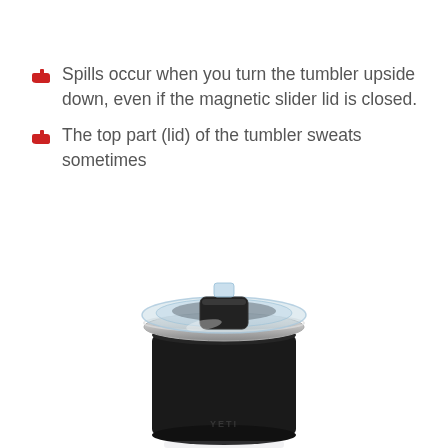Spills occur when you turn the tumbler upside down, even if the magnetic slider lid is closed.
The top part (lid) of the tumbler sweats sometimes
[Figure (photo): A black YETI tumbler with a clear magnetic slider lid viewed from above and slightly to the side, with a faint reflection visible below it on a white surface.]